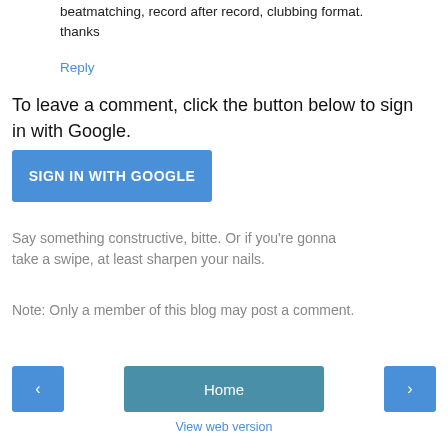beatmatching, record after record, clubbing format.
thanks
Reply
To leave a comment, click the button below to sign in with Google.
[Figure (other): Blue button labeled SIGN IN WITH GOOGLE]
Say something constructive, bitte. Or if you're gonna take a swipe, at least sharpen your nails.
Note: Only a member of this blog may post a comment.
[Figure (other): Navigation bar with left arrow button, Home button, and right arrow button]
View web version
Powered by Blogger.